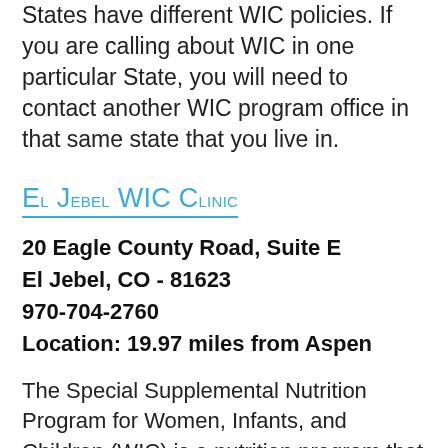States have different WIC policies. If you are calling about WIC in one particular State, you will need to contact another WIC program office in that same state that you live in.
El Jebel WIC Clinic
20 Eagle County Road, Suite E
El Jebel, CO - 81623
970-704-2760
Location: 19.97 miles from Aspen
The Special Supplemental Nutrition Program for Women, Infants, and Children (WIC) is a nutrition program that provides nutritious groceries, nutrition education, breastfeeding support and other services free of charge to Colorado families who qualify. WICs